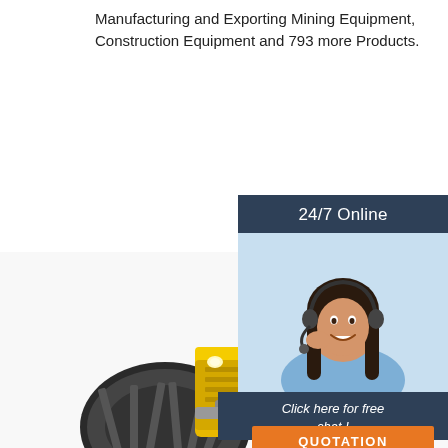Manufacturing and Exporting Mining Equipment, Construction Equipment and 793 more Products.
Get Price
24/7 Online
[Figure (photo): Customer service representative smiling with headset]
Click here for free chat !
QUOTATION
[Figure (photo): Yellow construction road roller / compactor machine]